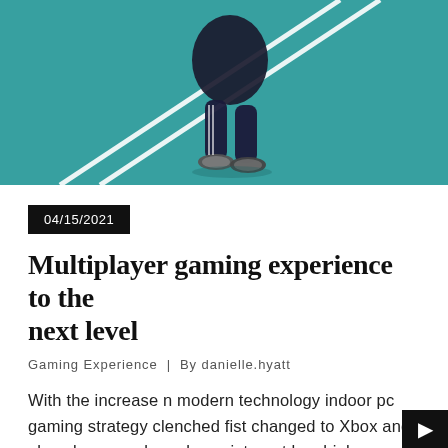[Figure (photo): Overhead view of a person walking on a teal/green court surface with white lines, wearing dark clothes and sneakers]
04/15/2021
Multiplayer gaming experience to the next level
Gaming Experience | By danielle.hyatt
With the increase n modern technology indoor pc gaming strategy clenched fist changed to Xbox and also also console and now internet has high